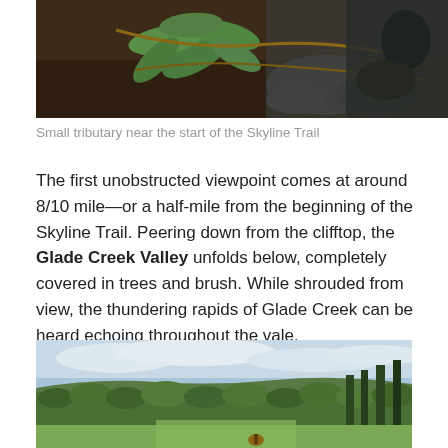[Figure (photo): A close-up photo of a small plant with green leaves and exposed roots/vines on a forest floor with dark soil and rocks.]
Small tributary near the start of the Skyline Trail
The first unobstructed viewpoint comes at around 8/10 mile—or a half-mile from the beginning of the Skyline Trail. Peering down from the clifftop, the Glade Creek Valley unfolds below, completely covered in trees and brush. While shrouded from view, the thundering rapids of Glade Creek can be heard echoing throughout the vale.
[Figure (photo): A panoramic photo of a forested valley (Glade Creek Valley) viewed from a clifftop, with a cloudy sky above and a person visible at the bottom right of the image.]